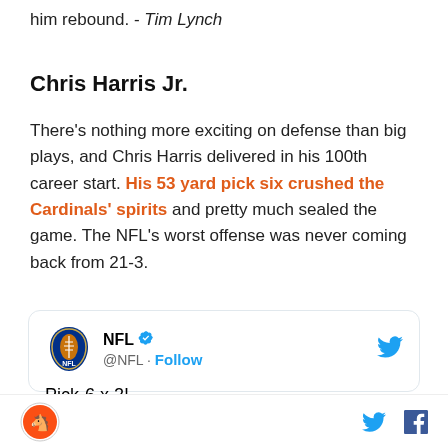him rebound. - Tim Lynch
Chris Harris Jr.
There's nothing more exciting on defense than big plays, and Chris Harris delivered in his 100th career start. His 53 yard pick six crushed the Cardinals' spirits and pretty much sealed the game. The NFL's worst offense was never coming back from 21-3.
[Figure (screenshot): Embedded tweet from @NFL showing 'Pick-6 x 2!' and beginning of tweet text '@ChrisHarrisJr takes the Rosen pass to']
Footer with site logo and social media share icons for Twitter and Facebook